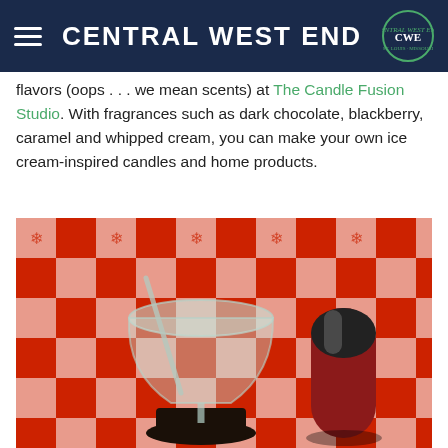CENTRAL WEST END
flavors (oops … we mean scents) at The Candle Fusion Studio. With fragrances such as dark chocolate, blackberry, caramel and whipped cream, you can make your own ice cream-inspired candles and home products.
[Figure (photo): A glass ice cream sundae dish on a dark pedestal, next to a red and silver cylindrical candle, with a red and white checkered tablecloth background.]